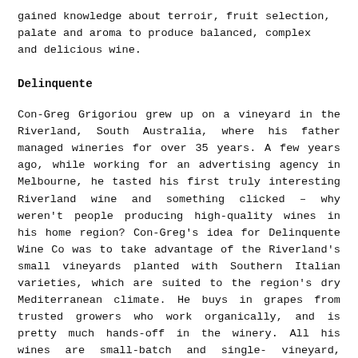gained knowledge about terroir, fruit selection, palate and aroma to produce balanced, complex and delicious wine.
Delinquente
Con-Greg Grigoriou grew up on a vineyard in the Riverland, South Australia, where his father managed wineries for over 35 years. A few years ago, while working for an advertising agency in Melbourne, he tasted his first truly interesting Riverland wine and something clicked – why weren't people producing high-quality wines in his home region? Con-Greg's idea for Delinquente Wine Co was to take advantage of the Riverland's small vineyards planted with Southern Italian varieties, which are suited to the region's dry Mediterranean climate. He buys in grapes from trusted growers who work organically, and is pretty much hands-off in the winery. All his wines are small-batch and single-vineyard, fermented in stainless steel with wild yeast. His aim is to make wine that is pure,